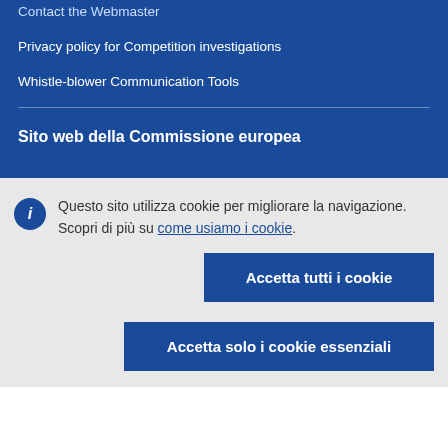Contact the Webmaster
Privacy policy for Competition investigations
Whistle-blower Communication Tools
Sito web della Commissione europea
Questo sito utilizza cookie per migliorare la navigazione. Scopri di più su come usiamo i cookie.
Accetta tutti i cookie
Accetta solo i cookie essenziali